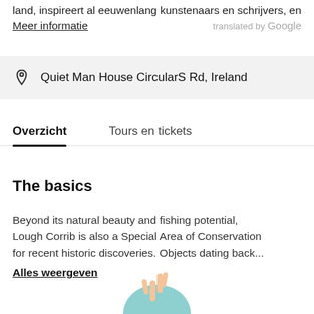land, inspireert al eeuwenlang kunstenaars en schrijvers, en
Meer informatie   translated by Google
Quiet Man House CircularS Rd, Ireland
Overzicht   Tours en tickets
The basics
Beyond its natural beauty and fishing potential, Lough Corrib is also a Special Area of Conservation for recent historic discoveries. Objects dating back...
Alles weergeven
[Figure (illustration): Partial illustration of a character with a peace sign hand gesture, with a teal/blue circular background, visible at the bottom of the page.]